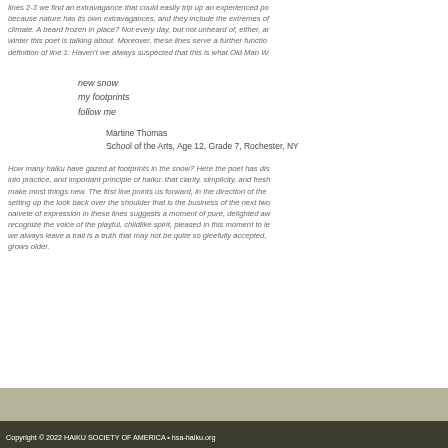lines 2-3 we find an extravagance that could easily trip up an experienced po because nature has its own extravagances, and they include the extremes of climate. A beard frozen in place? Not every day, but not unheard of, either, ar winter this poet is talking about. Moreover, these lines serve a further functio definition of line 1: Haven't we always suspected that this is what Old Man W
new snow
my footprints
follow me
Martine Thomas
School of the Arts, Age 12, Grade 7, Rochester, NY
How many haiku have gazed at footprints in the snow? Here the poet has dis into practice, and important principle of haiku: that clarity, simplicity, and fresh make most things new. The first line points us forward, in the direction of the setting up the look back over the shoulder that is the business of the next two naivete of expression in these lines suggests a moment of pure, delighted aw recognize the voice of the playful, childlike spirit, pleased in this moment to le we always leave a trail is a truth that may not be quite so gleefully accepted, grows older.
Copyright © 2022 HAIKU SOCIETY OF AMERICA • hsa-haiku.org